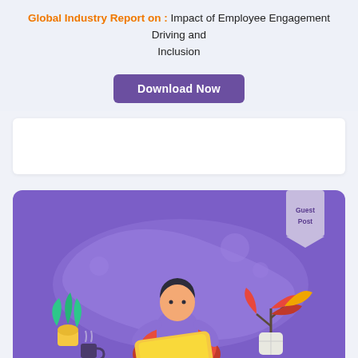Global Industry Report on : Impact of Employee Engagement Driving and Inclusion
[Figure (illustration): Illustration of a person sitting on a red bean bag chair using a laptop, with decorative plants and a mug nearby, on a purple background. A 'Guest Post' ribbon is shown in the top-right corner.]